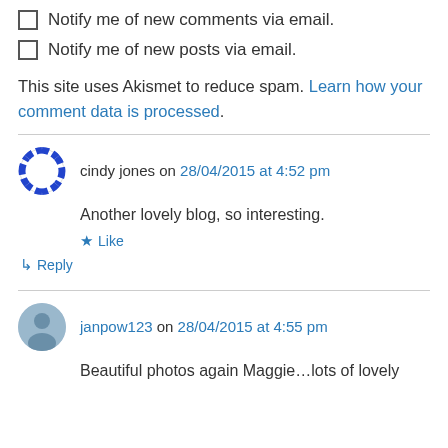Notify me of new comments via email.
Notify me of new posts via email.
This site uses Akismet to reduce spam. Learn how your comment data is processed.
cindy jones on 28/04/2015 at 4:52 pm
Another lovely blog, so interesting.
Like
Reply
janpow123 on 28/04/2015 at 4:55 pm
Beautiful photos again Maggie…lots of lovely